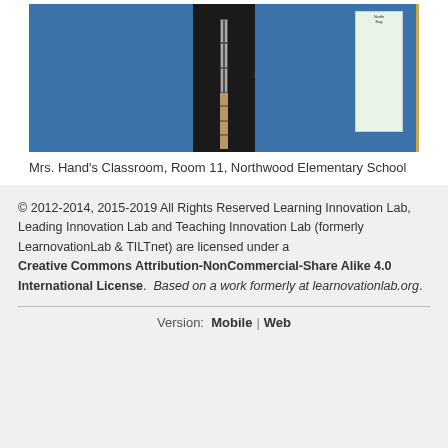[Figure (photo): Photo of a blue classroom door with a narrow window showing stairs inside, with a poster visible on the right side. Mrs. Hand's Classroom, Room 11, Northwood Elementary School.]
Mrs. Hand's Classroom, Room 11, Northwood Elementary School
© 2012-2014, 2015-2019 All Rights Reserved Learning Innovation Lab, Leading Innovation Lab and Teaching Innovation Lab (formerly LearnovationLab & TILTnet) are licensed under a Creative Commons Attribution-NonCommercial-Share Alike 4.0 International License. Based on a work formerly at learnovationlab.org.
Version: Mobile | Web